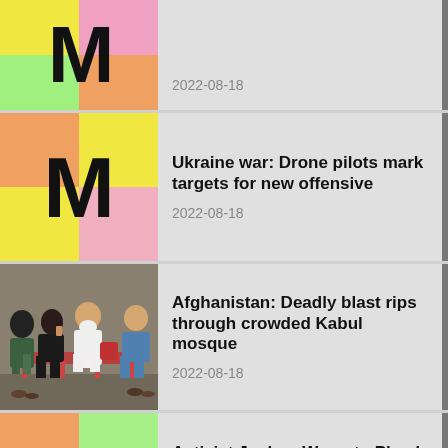[Figure (screenshot): News app listing showing 4 news items with thumbnails]
2022-08-18
Ukraine war: Drone pilots mark targets for new offensive
2022-08-18
Afghanistan: Deadly blast rips through crowded Kabul mosque
2022-08-18
Activist Joshua Wong to Plead Guilty in Hong Kong's Biggest Security Case
2022-08-18